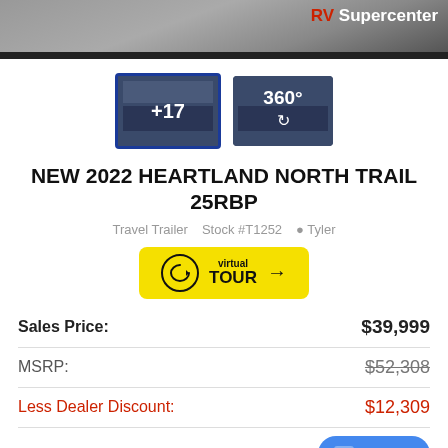[Figure (screenshot): RV Supercenter header banner with gravel/roof background and logo in top right]
[Figure (photo): Two thumbnail images: first shows RV interior with '+17' overlay and blue border selection, second shows '360°' virtual tour button]
NEW 2022 HEARTLAND NORTH TRAIL 25RBP
Travel Trailer   Stock #T1252   Tyler
[Figure (other): Yellow Virtual TOUR button with circular arrow icon]
| Label | Value |
| --- | --- |
| Sales Price: | $39,999 |
| MSRP: | $52,308 |
| Less Dealer Discount: | $12,309 |
* Trade-in may affect the final sales price.